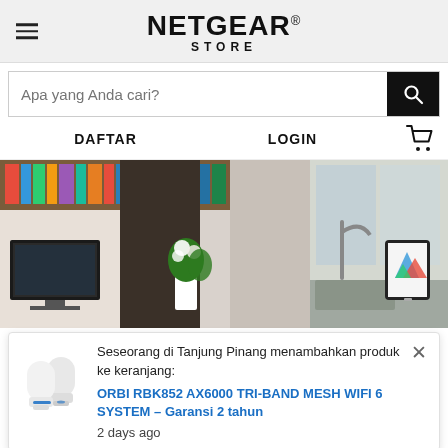NETGEAR® STORE
Apa yang Anda cari?
DAFTAR   LOGIN
[Figure (photo): Interior room scene with living room showing TV, bookshelf, plant, and kitchen with tablet device on counter]
Seseorang di Tanjung Pinang menambahkan produk ke keranjang:
ORBI RBK852 AX6000 TRI-BAND MESH WIFI 6 SYSTEM – Garansi 2 tahun
2 days ago
Hubungkan Semua Perangkat di Rumah Tanpa Kompromi